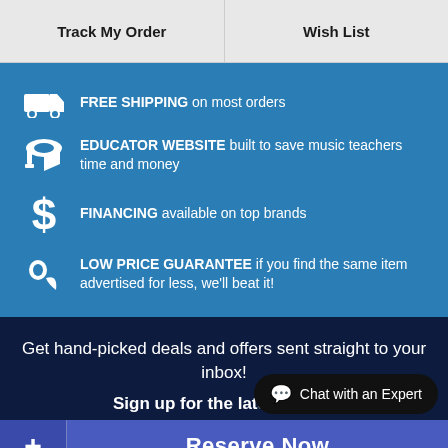Track My Order | Wish List
FREE SHIPPING on most orders
EDUCATOR WEBSITE built to save music teachers time and money
FINANCING available on top brands
LOW PRICE GUARANTEE if you find the same item advertised for less, we'll beat it!
Get hand-picked deals and offers sent straight to your inbox!
Sign up for the latest deals.
Chat with an Expert
Reserve Now